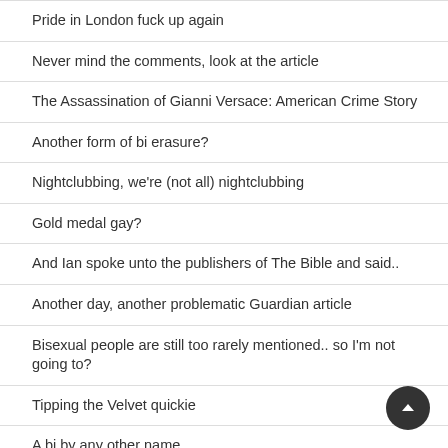Pride in London fuck up again
Never mind the comments, look at the article
The Assassination of Gianni Versace: American Crime Story
Another form of bi erasure?
Nightclubbing, we're (not all) nightclubbing
Gold medal gay?
And Ian spoke unto the publishers of The Bible and said..
Another day, another problematic Guardian article
Bisexual people are still too rarely mentioned.. so I'm not going to?
Tipping the Velvet quickie
A bi by any other name...